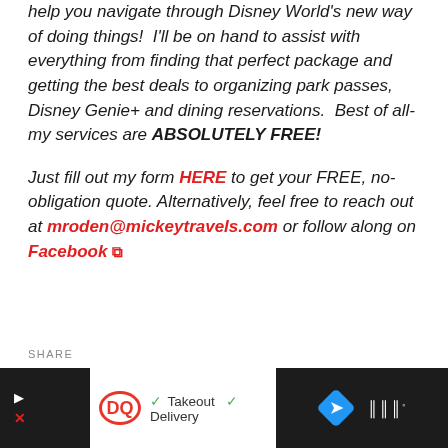help you navigate through Disney World's new way of doing things!  I'll be on hand to assist with everything from finding that perfect package and getting the best deals to organizing park passes, Disney Genie+ and dining reservations.  Best of all- my services are ABSOLUTELY FREE!
Just fill out my form HERE to get your FREE, no-obligation quote. Alternatively, feel free to reach out at mroden@mickeytravels.com or follow along on Facebook
SHARE
[Figure (screenshot): Advertisement bar at bottom: Dairy Queen logo with checkmarks for Takeout and Delivery, blue diamond navigation arrow icon on dark background, and WW logo on right dark strip]